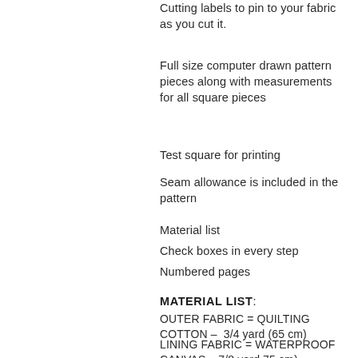Cutting labels to pin to your fabric as you cut it.
Full size computer drawn pattern pieces along with measurements for all square pieces
Test square for printing
Seam allowance is included in the pattern
Material list
Check boxes in every step
Numbered pages
MATERIAL LIST:
OUTER FABRIC = QUILTING COTTON – 3/4 yard (65 cm)
LINING FABRIC = WATERPROOF CANVAS – 7/8 yard 75 cm)
FAUX LEATHER – 17" wide x 8" high (43 cm wide x 20 cm high)